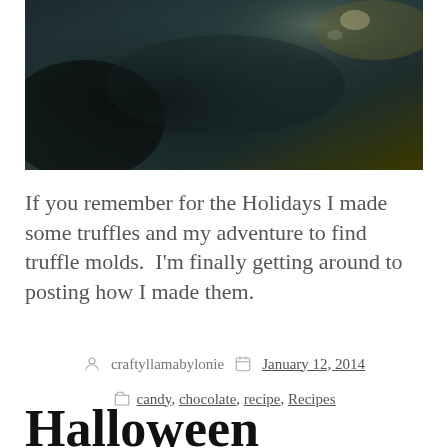[Figure (photo): Dark, close-up photograph with teal/dark tones, partially visible objects]
If you remember for the Holidays I made some truffles and my adventure to find truffle molds.  I'm finally getting around to posting how I made them.
craftyllamabylonie   January 12, 2014
candy, chocolate, recipe, Recipes
Halloween Cupcakes